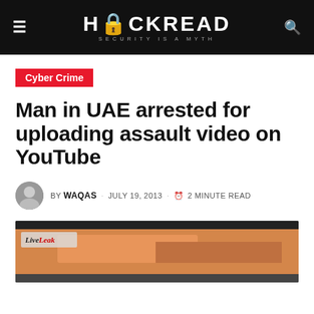HACKREAD — SECURITY IS A MYTH
Cyber Crime
Man in UAE arrested for uploading assault video on YouTube
BY WAQAS · JULY 19, 2013 · 2 MINUTE READ
[Figure (screenshot): LiveLeak video thumbnail showing a vehicle on a road, dark header bar at top and bottom]